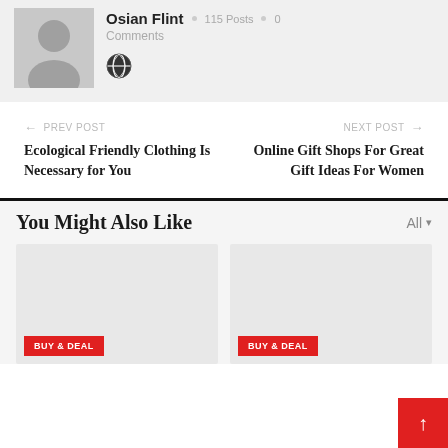Osian Flint · 115 Posts · 0 Comments
PREV POST
Ecological Friendly Clothing Is Necessary for You
NEXT POST
Online Gift Shops For Great Gift Ideas For Women
You Might Also Like
All
[Figure (photo): Placeholder image card 1 with BUY & DEAL button]
[Figure (photo): Placeholder image card 2 with BUY & DEAL button]